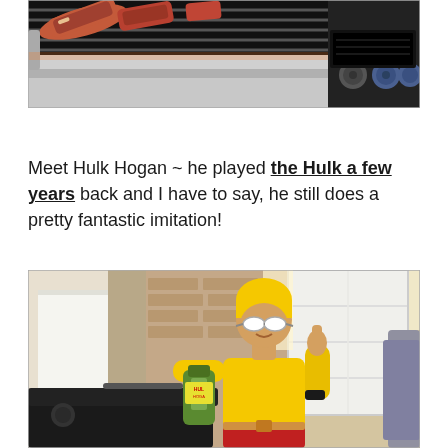[Figure (photo): Close-up photo of meat cooking on a gas grill with stainless steel grates, showing raw/cooking meat pieces on the left and grill controls on the right]
Meet Hulk Hogan ~ he played the Hulk a few years back and I have to say, he still does a pretty fantastic imitation!
[Figure (photo): Photo of a man dressed as Hulk Hogan in yellow outfit with yellow beanie, white sunglasses, holding a Hulk Hogan hot sauce bottle and giving thumbs up near a grill, with garage and brick house in background]